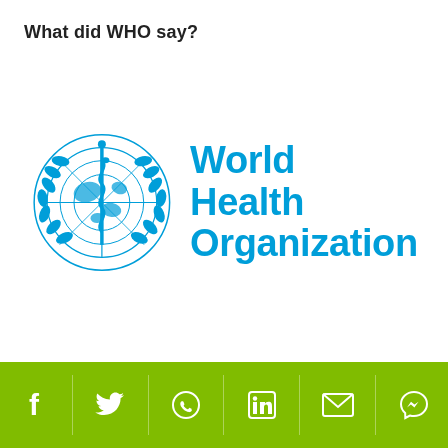What did WHO say?
[Figure (logo): World Health Organization logo with blue emblem (Rod of Asclepius on globe with laurel wreath) and blue text 'World Health Organization']
Social share icons: Facebook, Twitter, WhatsApp, LinkedIn, Email, Messenger